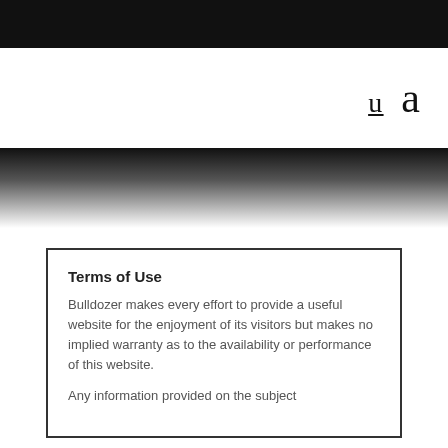U  a
Terms of Use
Bulldozer makes every effort to provide a useful website for the enjoyment of its visitors but makes no implied warranty as to the availability or performance of this website.
Any information provided on the subject